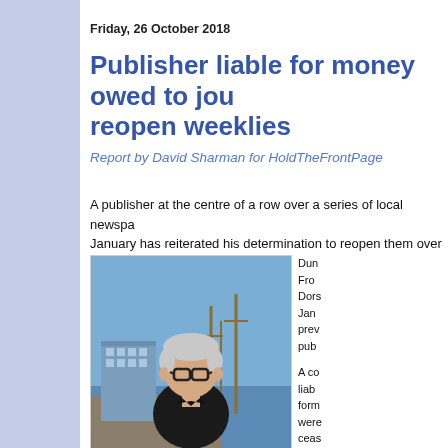Friday, 26 October 2018
Publisher liable for money owed to journalists as he vows to reopen weeklies
Report by David Sharman for HoldTheFrontPage
A publisher at the centre of a row over a series of local newspaper closures in January has reiterated his determination to reopen them over ti...
[Figure (photo): A man with grey hair and glasses wearing a black shirt, standing in front of a harbour with sailboat masts and buildings in the background.]
Dun... Fro... Dors... Jan... prev... pub...

A co... liab... form... were... ceas...